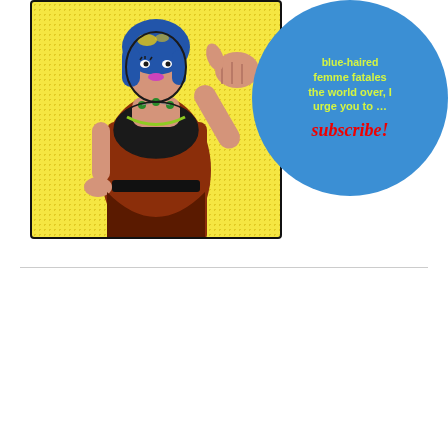[Figure (illustration): Pop art comic-style illustration of a blue-haired woman in a red dress with halftone yellow background, pointing at viewer. A large blue circle speech bubble to the right contains yellow text 'blue-haired femme fatales the world over, I urge you to ...' and red italic text 'subscribe!']
[Figure (screenshot): YouTube video thumbnail for 'Funny Farm - Reading Scene' showing a man seated at a desk in front of a brick fireplace. Red YouTube play button in center. Small landscape thumbnail icon in top-left. Three-dot menu icon in top-right.]